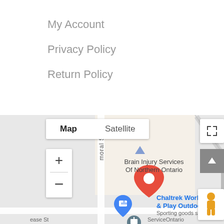My Account
Privacy Policy
Return Policy
[Figure (map): Google Maps embed showing a location pin for Brain Injury Services of Northern Ontario, with Chaltrek Work & Play Outdoors (Sporting goods store) nearby. Map/Satellite toggle buttons, zoom controls (+/-), fullscreen button, scroll-up button, and pegman street view figure visible. Street labeled 'moral St' runs vertically. Bottom shows partial text 'ease St' and 'ServiceOntario'.]